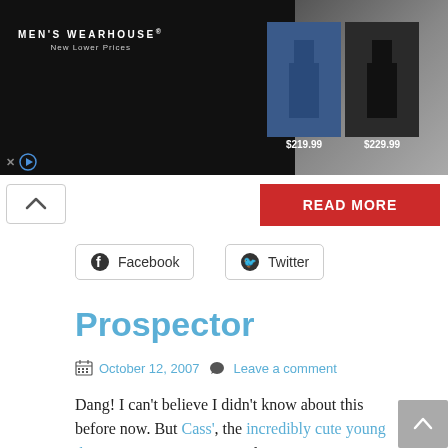[Figure (photo): Men's Wearhouse advertisement banner showing a couple in formal wear and two suit options priced at $219.99 and $229.99]
[Figure (other): Read More red button and scroll-up chevron button UI element]
Facebook
Twitter
Prospector
October 12, 2007  Leave a comment
Dang! I can't believe I didn't know about this before now. But Cass', the incredibly cute young thing up in Laramie, pointed me out to